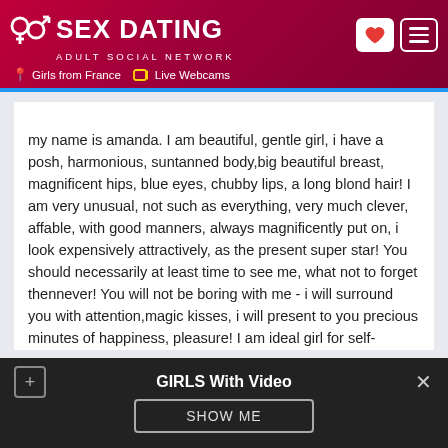SEX DATING ADULT SOCIAL NETWORK | Girls from France | Live Webcams
my name is amanda. I am beautiful, gentle girl, i have a posh, harmonious, suntanned body,big beautiful breast, magnificent hips, blue eyes, chubby lips, a long blond hair! I am very unusual, not such as everything, very much clever, affable, with good manners, always magnificently put on, i look expensively attractively, as the present super star! You should necessarily at least time to see me, what not to forget thennever! You will not be boring with me - i will surround you with attention,magic kisses, i will present to you precious minutes of happiness, pleasure! I am ideal girl for self-confident, rich and serious men!. My nature is kind and sensual i like to create relax atmosphere.. I'm seeking a woman anywhere from Med built to BBW or SSBBW I like
GIRLS With Video
SHOW ME